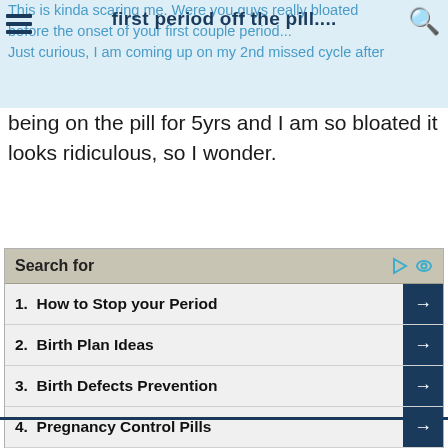first period off the pill....
This is kinda scaring me. Were you guys really bloated before the onset of your first couple periods. Just curious, I am coming up on my 2nd missed cycle after being on the pill for 5yrs and I am so bloated it looks ridiculous, so I wonder.
Search for
1.  How to Stop your Period
2.  Birth Plan Ideas
3.  Birth Defects Prevention
4.  Pregnancy Control Pills
5.  How to Avoid Pregnancy